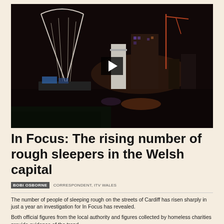[Figure (screenshot): A night-time cityscape video thumbnail showing Cardiff city skyline with stadium and buildings lit up at night, with a play button overlay in the center]
In Focus: The rising number of rough sleepers in the Welsh capital
BOBI OSBORNE  CORRESPONDENT, ITV WALES
The number of people of sleeping rough on the streets of Cardiff has risen sharply in just a year an investigation for In Focus has revealed.
Both official figures from the local authority and figures collected by homeless charities provide evidence of the trend.
Experts say a number of factors are to blame including chances to the benefit system, a lack of drug and alcohol services and the 'pull factor' of the city. The council says it is working with others to try and tackle the problem.